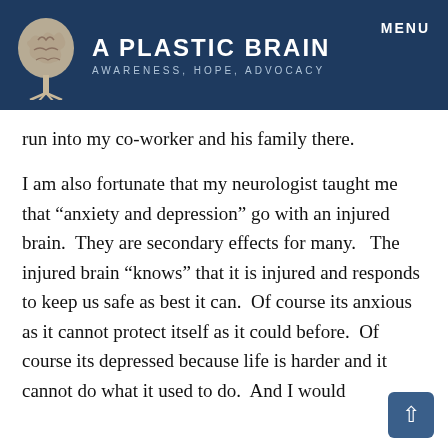A PLASTIC BRAIN — AWARENESS, HOPE, ADVOCACY
run into my co-worker and his family there.
I am also fortunate that my neurologist taught me that “anxiety and depression” go with an injured brain.  They are secondary effects for many.   The injured brain “knows” that it is injured and responds to keep us safe as best it can.  Of course its anxious as it cannot protect itself as it could before.  Of course its depressed because life is harder and it cannot do what it used to do.  And I would